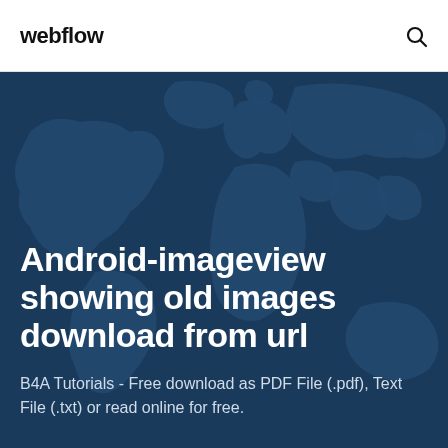webflow
Android-imageview showing old images download from url
B4A Tutorials - Free download as PDF File (.pdf), Text File (.txt) or read online for free.